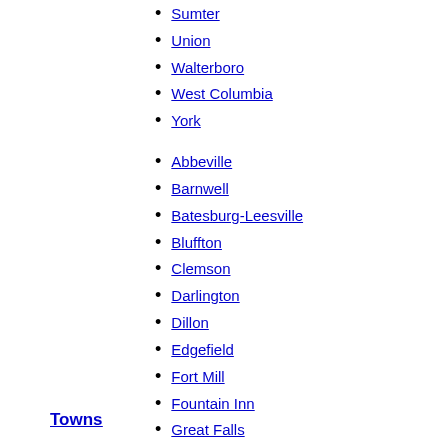Sumter
Union
Walterboro
West Columbia
York
Abbeville
Barnwell
Batesburg-Leesville
Bluffton
Clemson
Darlington
Dillon
Edgefield
Fort Mill
Fountain Inn
Great Falls
Hardeeville
Irmo
Jefferson
Kingstree
Towns
Liberty
Marion
McCormick
Moncks Corner